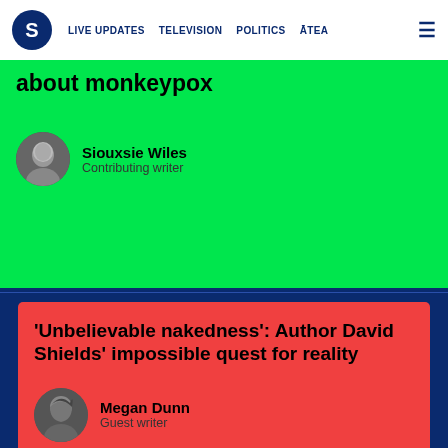S | LIVE UPDATES | TELEVISION | POLITICS | ĀTEA
about monkeypox
Siouxsie Wiles
Contributing writer
'Unbelievable nakedness': Author David Shields' impossible quest for reality
Megan Dunn
Guest writer
Recipe: Green mac and cheese
Emma Boyd
Contributing writer